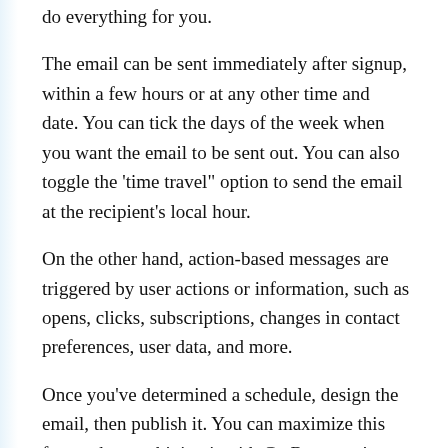do everything for you.
The email can be sent immediately after signup, within a few hours or at any other time and date. You can tick the days of the week when you want the email to be sent out. You can also toggle the ‘time travel" option to send the email at the recipient’s local hour.
On the other hand, action-based messages are triggered by user actions or information, such as opens, clicks, subscriptions, changes in contact preferences, user data, and more.
Once you’ve determined a schedule, design the email, then publish it. You can maximize this feature by combining it with GetResponse’s marketing automation feature. This allows you to automate your sales and engagement through multiple autoresponders.